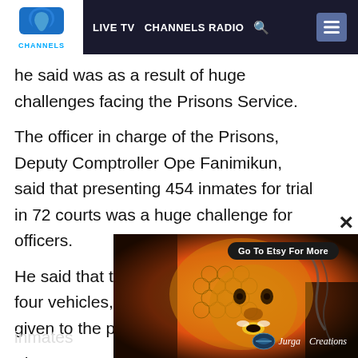LIVE TV  CHANNELS RADIO
he said was as a result of huge challenges facing the Prisons Service.
The officer in charge of the Prisons, Deputy Comptroller Ope Fanimikun, said that presenting 454 inmates for trial in 72 courts was a huge challenge for officers.
He said that the Prisons service had just four vehicles, the newest of which was given to the prisons four years ago.
The D[...] of Nigeri[...] sure that in[mates were presented for trials to...]
[Figure (photo): Advertisement banner showing colorful artwork with a face and honeycomb pattern, Jurga Creations, with 'Go To Etsy For More' button]